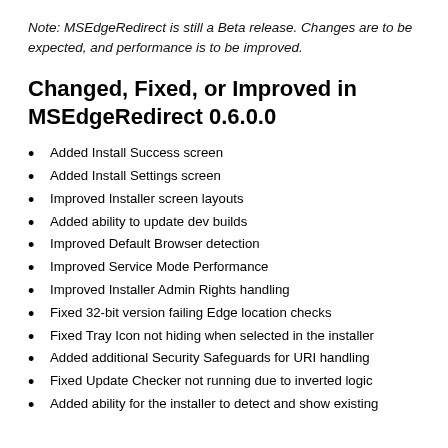Note: MSEdgeRedirect is still a Beta release. Changes are to be expected, and performance is to be improved.
Changed, Fixed, or Improved in MSEdgeRedirect 0.6.0.0
Added Install Success screen
Added Install Settings screen
Improved Installer screen layouts
Added ability to update dev builds
Improved Default Browser detection
Improved Service Mode Performance
Improved Installer Admin Rights handling
Fixed 32-bit version failing Edge location checks
Fixed Tray Icon not hiding when selected in the installer
Added additional Security Safeguards for URI handling
Fixed Update Checker not running due to inverted logic
Added ability for the installer to detect and show existing